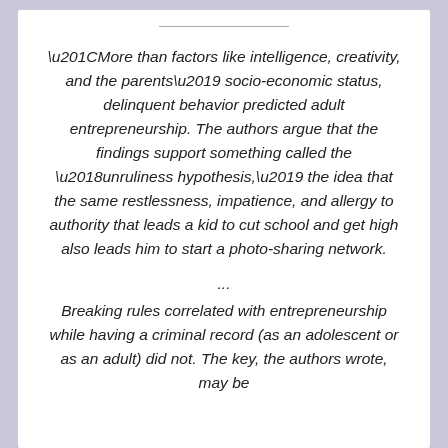“More than factors like intelligence, creativity, and the parents’ socio-economic status, delinquent behavior predicted adult entrepreneurship. The authors argue that the findings support something called the ‘unruliness hypothesis,’ the idea that the same restlessness, impatience, and allergy to authority that leads a kid to cut school and get high also leads him to start a photo-sharing network.
... Breaking rules correlated with entrepreneurship while having a criminal record (as an adolescent or as an adult) did not. The key, the authors wrote, may be